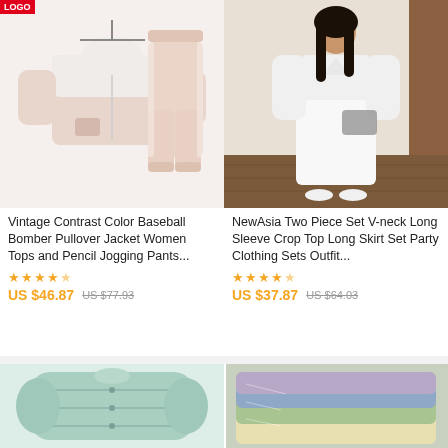[Figure (photo): Product photo of a vintage contrast color baseball bomber pullover jacket (white and pink/mauve) and matching pencil jogging pants on hangers/displayed, with a red LOGO badge in top left corner]
Vintage Contrast Color Baseball Bomber Pullover Jacket Women Tops and Pencil Jogging Pants...
★★★★½
US $46.87  US $77.93
[Figure (photo): Product photo of a woman wearing a white V-neck long sleeve crop top and long skirt two piece set, standing indoors on wooden floor]
NewAsia Two Piece Set V-neck Long Sleeve Crop Top Long Skirt Set Party Clothing Sets Outfit...
★★★★½
US $37.87  US $64.03
[Figure (photo): Product photo of a light blue/mint quilted puffer jacket displayed flat]
[Figure (photo): Product photo of multiple pastel-colored hoodies/sweatshirts stacked together in shades of purple, blue, yellow/cream, and green]